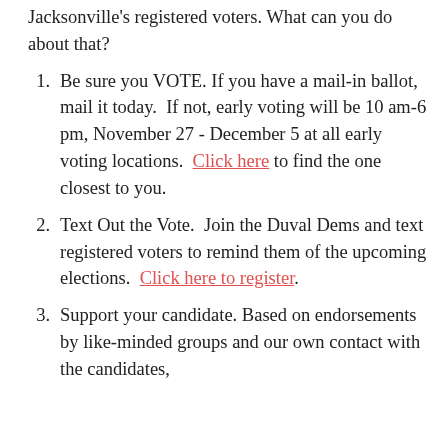Jacksonville's registered voters.  What can you do about that?
Be sure you VOTE. If you have a mail-in ballot, mail it today.  If not, early voting will be 10 am-6 pm, November 27 - December 5 at all early voting locations.  Click here to find the one closest to you.
Text Out the Vote.  Join the Duval Dems and text registered voters to remind them of the upcoming elections.  Click here to register.
Support your candidate. Based on endorsements by like-minded groups and our own contact with the candidates,